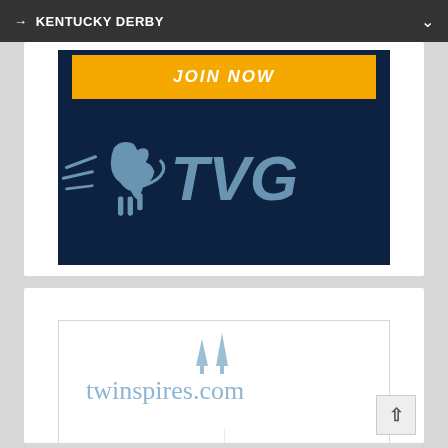→ KENTUCKY DERBY
[Figure (logo): TVG horse racing brand advertisement with dark navy background, yellow JOIN NOW button at top, and TVG logo with horse silhouette in center]
[Figure (logo): twinspires.com advertisement with white background showing the twinspires.com logo in light blue with two spire icons above the text]